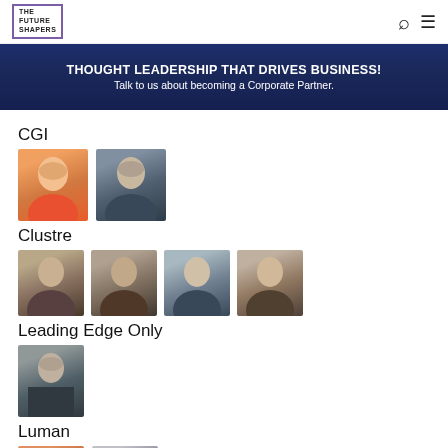THE FUTURE SHAPERS
[Figure (photo): Banner with dark blue background reading THOUGHT LEADERSHIP THAT DRIVES BUSINESS! Talk to us about becoming a Corporate Partner.]
CGI
[Figure (photo): Two person profile photos for CGI section: a woman and a man]
Clustre
[Figure (photo): Four person profile photos for Clustre section]
Leading Edge Only
[Figure (photo): One person profile photo for Leading Edge Only section]
Luman
[Figure (photo): Two partial person profile photos for Luman section at bottom]